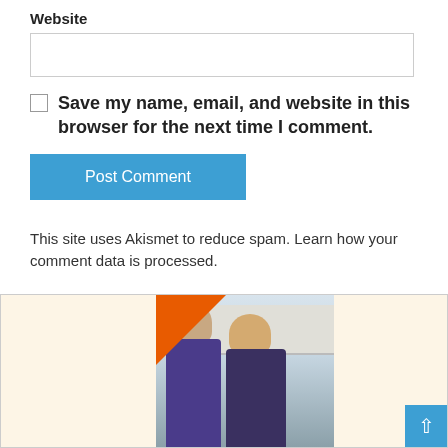Website
Save my name, email, and website in this browser for the next time I comment.
Post Comment
This site uses Akismet to reduce spam. Learn how your comment data is processed.
[Figure (photo): Banner image with cream/beige background and a photo of two women looking to the side in an interior room setting, with an orange triangle graphic element in the upper-left corner of the photo. A blue scroll-to-top button is in the bottom-right corner.]